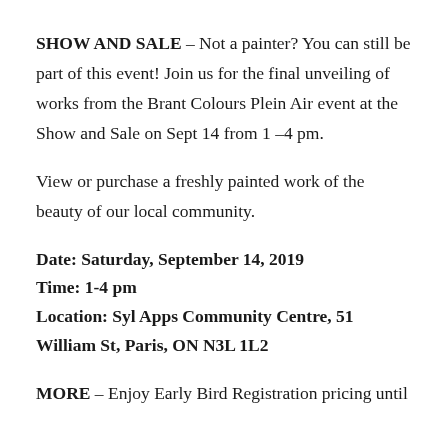SHOW AND SALE – Not a painter? You can still be part of this event! Join us for the final unveiling of works from the Brant Colours Plein Air event at the Show and Sale on Sept 14 from 1 –4 pm.
View or purchase a freshly painted work of the beauty of our local community.
Date: Saturday, September 14, 2019
Time: 1-4 pm
Location: Syl Apps Community Centre, 51 William St, Paris, ON N3L 1L2
MORE – Enjoy Early Bird Registration pricing until